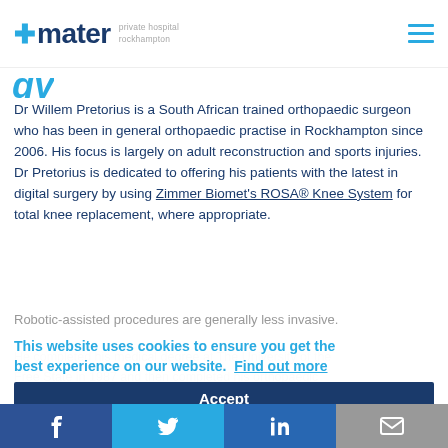mater private hospital rockhampton
gy (partial, cut off)
Dr Willem Pretorius is a South African trained orthopaedic surgeon who has been in general orthopaedic practise in Rockhampton since 2006. His focus is largely on adult reconstruction and sports injuries. Dr Pretorius is dedicated to offering his patients with the latest in digital surgery by using Zimmer Biomet's ROSA® Knee System for total knee replacement, where appropriate. Robotic-assisted procedures are generally less invasive.
He completed his medical degree at The University of the Free State in 1987 and then completed his orthopaedic training at The University of Pretoria in 1997. In addition, he spent a year at 1 Military Hospital in Pretoria doing
This website uses cookies to ensure you get the best experience on our website. Find out more
Accept
f | Twitter | in | email